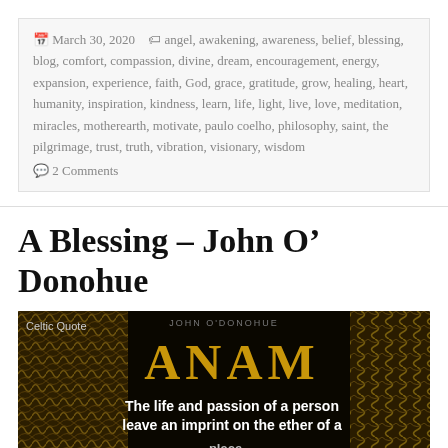📅 March 30, 2020  🏷 angel, awakening, awareness, belief, blessing, blog, comfort, compassion, divine, dream, encouragement, energy, expansion, experience, faith, God, grace, gratitude, grow, healing, heart, humanity, inspiration, kindness, learn, life, light, live, love, meditation, miracles, motherearth, motivate, paulo coelho, philosophy, saint, the pilgrimage, trust, truth, vibration, visionary, wisdom 💬 2 Comments
A Blessing – John O' Donohue
[Figure (photo): Dark decorative image with Celtic-style panels on either side and golden text reading 'ANAM' in the center. A white quote reads 'The life and passion of a person leave an imprint on the ether of a' with more text cut off. Top left corner shows 'Celtic Quote' label and top center shows 'JOHN O'DONOHUE' author credit.]